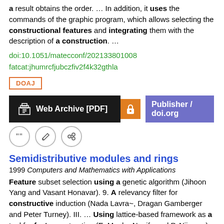a result obtains the order. … In addition, it uses the commands of the graphic program, which allows selecting the constructional features and integrating them with the description of a construction. …
doi:10.1051/matecconf/202133801008
fatcat:jhumrcfjubczfiv2f4k32gthla
DOAJ
[Figure (other): Two buttons: 'Web Archive [PDF]' with dark background and building icon, and 'Publisher / doi.org' with orange lock icon and purple background]
[Figure (other): Three circular icon buttons: quote/cite, edit, and share/link icons]
Semidistributive modules and rings
1999 Computers and Mathematics with Applications
Feature subset selection using a genetic algorithm (Jihoon Yang and Vasant Honavar). 9. A relevancy filter for constructive induction (Nada Lavra~, Dragan Gamberger and Peter Turney). III. … Using lattice-based framework as a tool for feature extraction (E. Mephu Nguifo and P. Njiwoua). 14. Constructive function approximation (Paul E. Utgoff and Doina Precup). IV. …
doi:10.1016/s0898-1221(99)90025-1